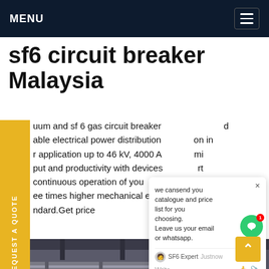MENU
sf6 circuit breaker Malaysia
uum and sf 6 gas circuit breaker d able electrical power distribution on in r application up to 46 kV, 4000 A mi put and productivity with devices rt continuous operation of you r ee times higher mechanical endu the ndard.Get price
[Figure (screenshot): Chat popup overlay with text: 'we cansend you catalogue and price list for you choosing. Leave us your email or whatsapp.' Agent label: SF6 Expert, Justnow. Write input with thumbs up and paperclip icons. Green chat bubble with notification badge showing 1.]
[Figure (photo): Industrial equipment photo showing large pipe/valve assemblies with metal framework inside a building, grey and metallic tones.]